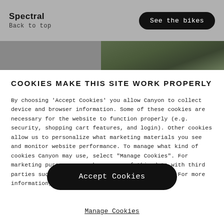Spectral
Back to top
See the bikes
[Figure (photo): Outdoor mountain/forest scene, partial view in upper right]
COOKIES MAKE THIS SITE WORK PROPERLY
By choosing 'Accept Cookies' you allow Canyon to collect device and browser information. Some of these cookies are necessary for the website to function properly (e.g. security, shopping cart features, and login). Other cookies allow us to personalize what marketing materials you see and monitor website performance. To manage what kind of cookies Canyon may use, select "Manage Cookies". For marketing purposes, we share some of this data with third parties such as Google, Facebook, and Instagram. For more information, see the Privacy Agreement.
Accept Cookies
Manage Cookies